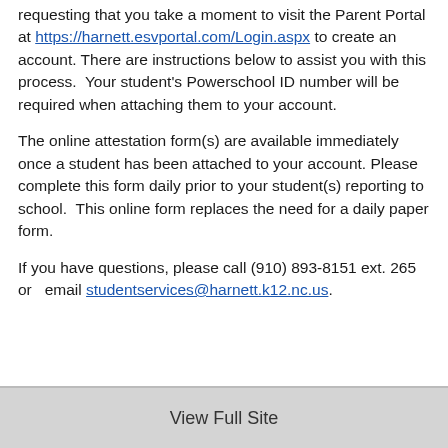requesting that you take a moment to visit the Parent Portal at https://harnett.esvportal.com/Login.aspx to create an account. There are instructions below to assist you with this process.  Your student's Powerschool ID number will be required when attaching them to your account.
The online attestation form(s) are available immediately once a student has been attached to your account. Please complete this form daily prior to your student(s) reporting to school.  This online form replaces the need for a daily paper form.
If you have questions, please call (910) 893-8151 ext. 265 or  email studentservices@harnett.k12.nc.us.
View Full Site